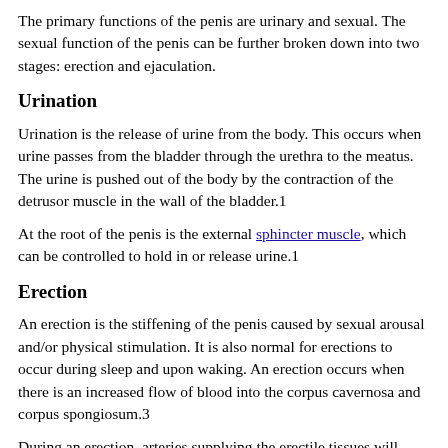The primary functions of the penis are urinary and sexual. The sexual function of the penis can be further broken down into two stages: erection and ejaculation.
Urination
Urination is the release of urine from the body. This occurs when urine passes from the bladder through the urethra to the meatus. The urine is pushed out of the body by the contraction of the detrusor muscle in the wall of the bladder.1
At the root of the penis is the external sphincter muscle, which can be controlled to hold in or release urine.1
Erection
An erection is the stiffening of the penis caused by sexual arousal and/or physical stimulation. It is also normal for erections to occur during sleep and upon waking. An erection occurs when there is an increased flow of blood into the corpus cavernosa and corpus spongiosum.3
During an erection, arteries supplying the erectile tissues will dilate (widen), causing the penis to engorge (fill) with blood. The engorgement compresses the veins through which blood usually...